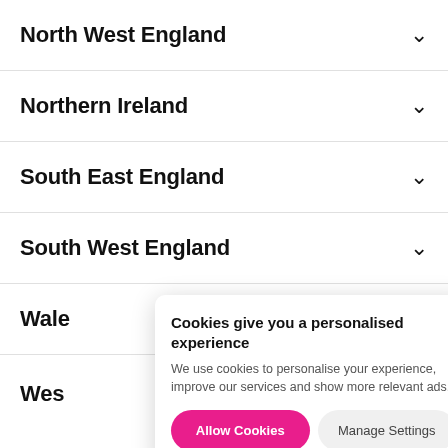North West England
Northern Ireland
South East England
South West England
Wales
West
Cookies give you a personalised experience
We use cookies to personalise your experience, improve our services and show more relevant ads.
Allow Cookies
Manage Settings